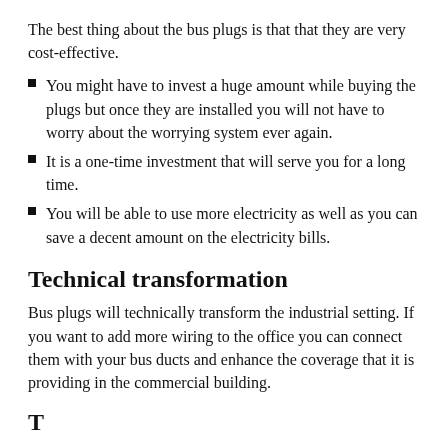The best thing about the bus plugs is that that they are very cost-effective.
You might have to invest a huge amount while buying the plugs but once they are installed you will not have to worry about the worrying system ever again.
It is a one-time investment that will serve you for a long time.
You will be able to use more electricity as well as you can save a decent amount on the electricity bills.
Technical transformation
Bus plugs will technically transform the industrial setting. If you want to add more wiring to the office you can connect them with your bus ducts and enhance the coverage that it is providing in the commercial building.
T...